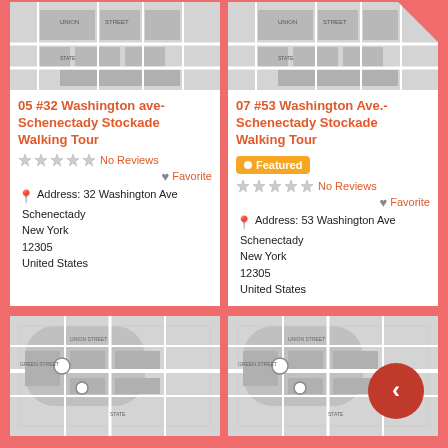[Figure (map): Greyscale street map of Schenectady Stockade area showing Union Street, State Street and surrounding blocks]
05 #32 Washington ave- Schenectady Stockade Walking Tour
No Reviews
Favorite
Address: 32 Washington Ave Schenectady New York 12305 United States
[Figure (map): Greyscale street map of Schenectady Stockade area with orange triangle in top-right corner]
07 #53 Washington Ave.- Schenectady Stockade Walking Tour
Featured
No Reviews
Favorite
Address: 53 Washington Ave Schenectady New York 12305 United States
[Figure (map): Greyscale street map showing Green Street, Union Street, and State Street with circular block layout and white circle markers]
[Figure (map): Greyscale street map identical to left map with a red circular back-navigation button overlaid on the right side]